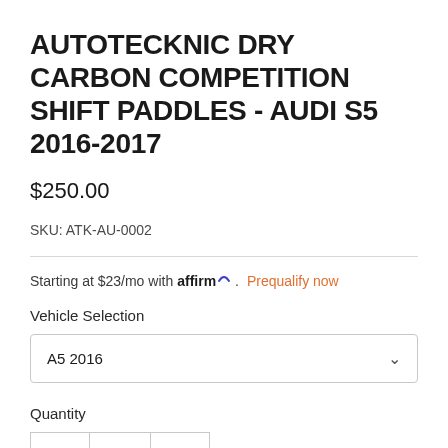AUTOTECKNIC DRY CARBON COMPETITION SHIFT PADDLES - AUDI S5 2016-2017
$250.00
SKU: ATK-AU-0002
Starting at $23/mo with affirm. Prequalify now
Vehicle Selection
A5 2016
Quantity